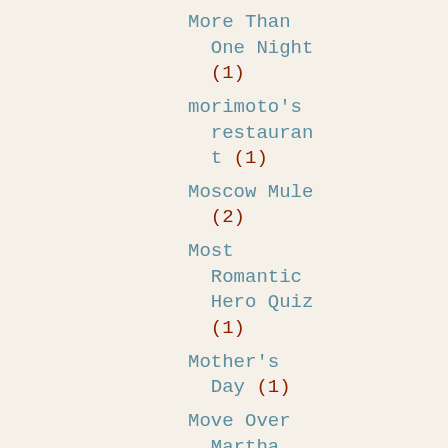More Than One Night (1)
morimoto's restaurant (1)
Moscow Mule (2)
Most Romantic Hero Quiz (1)
Mother's Day (1)
Move Over Martha Stewart I'm A